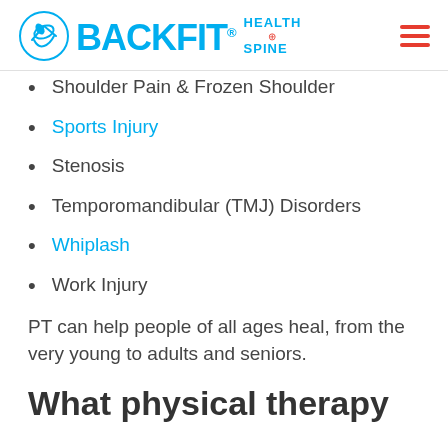BACKFIT HEALTH SPINE
Shoulder Pain & Frozen Shoulder
Sports Injury
Stenosis
Temporomandibular (TMJ) Disorders
Whiplash
Work Injury
PT can help people of all ages heal, from the very young to adults and seniors.
What physical therapy